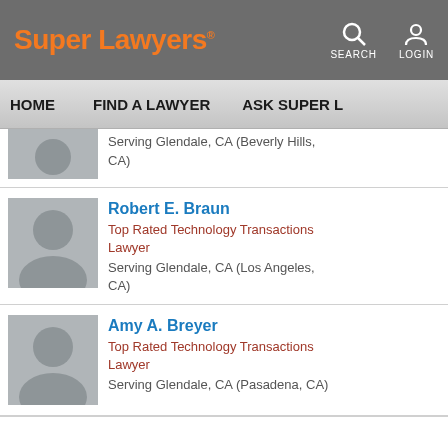Super Lawyers
HOME | FIND A LAWYER | ASK SUPER L...
Serving Glendale, CA (Beverly Hills, CA)
Robert E. Braun
Top Rated Technology Transactions Lawyer
Serving Glendale, CA (Los Angeles, CA)
Amy A. Breyer
Top Rated Technology Transactions Lawyer
Serving Glendale, CA (Pasadena, CA)